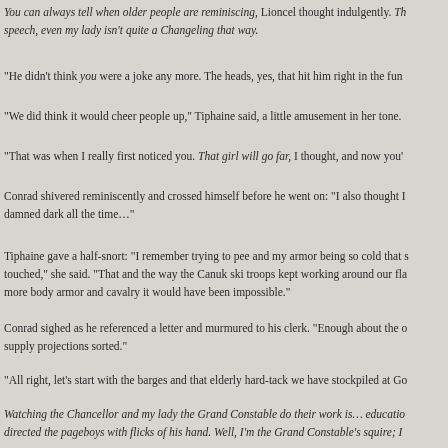You can always tell when older people are reminiscing, Lioncel thought indulgently. Th speech, even my lady isn't quite a Changeling that way.
"He didn't think you were a joke any more. The heads, yes, that hit him right in the fun
"We did think it would cheer people up," Tiphaine said, a little amusement in her tone.
"That was when I really first noticed you. That girl will go far, I thought, and now you'
Conrad shivered reminiscently and crossed himself before he went on: "I also thought I damned dark all the time…"
Tiphaine gave a half-snort: "I remember trying to pee and my armor being so cold that s touched," she said. "That and the way the Canuk ski troops kept working around our fla more body armor and cavalry it would have been impossible."
Conrad sighed as he referenced a letter and murmured to his clerk. "Enough about the o supply projections sorted."
"All right, let's start with the barges and that elderly hard-tack we have stockpiled at Go
Watching the Chancellor and my lady the Grand Constable do their work is… educatio directed the pageboys with flicks of his hand. Well, I'm the Grand Constable's squire; I